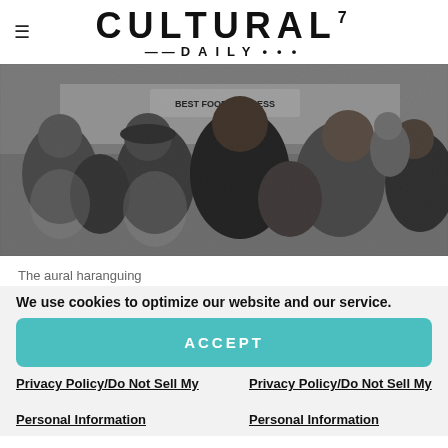CULTURAL7 DAILY
[Figure (photo): Black and white photograph of a crowd of people, seen from behind and side angles, in an urban setting with a sign reading 'BEST FOOD FOR LESS' visible in the background.]
The aural haranguing
We use cookies to optimize our website and our service.
ACCEPT
Privacy Policy/Do Not Sell My Personal Information
Privacy Policy/Do Not Sell My Personal Information